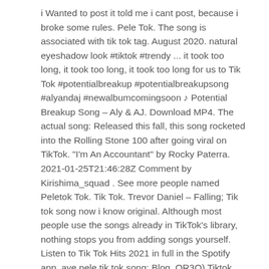i Wanted to post it told me i cant post, because i broke some rules. Pele Tok. The song is associated with tik tok tag. August 2020. natural eyeshadow look #tiktok #trendy ... it took too long, it took too long, it took too long for us to Tik Tok #potentialbreakup #potentialbreakupsong #alyandaj #newalbumcomingsoon ♪ Potential Breakup Song – Aly & AJ. Download MP4. The actual song: Released this fall, this song rocketed into the Rolling Stone 100 after going viral on TikTok. "I'm An Accountant" by Rocky Paterra. 2021-01-25T21:46:28Z Comment by Kirishima_squad . See more people named Peletok Tok. Tik Tok. Trevor Daniel – Falling; Tik tok song now i know original. Although most people use the songs already in TikTok's library, nothing stops you from adding songs yourself. Listen to Tik Tok Hits 2021 in full in the Spotify app. aye pele tik tok song; Blog. OR3O) Tiktok woah song. Hello, Candyy. The actual song: According to the New York Times, the song was first